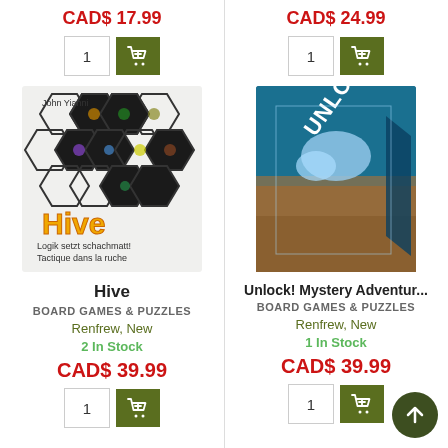CAD$ 17.99
[Figure (screenshot): Quantity input box showing '1' and a dark green add-to-cart button with shopping cart icon]
[Figure (photo): Hive board game box cover showing hexagonal insect-themed game pieces and title 'Hive' with text 'John Yianni', 'Logik setzt schachmatt! Tactique dans la ruche']
Hive
BOARD GAMES & PUZZLES
Renfrew, New
2 In Stock
CAD$ 39.99
[Figure (screenshot): Quantity input box showing '1' and a dark green add-to-cart button with shopping cart icon]
CAD$ 24.99
[Figure (screenshot): Quantity input box showing '1' and a dark green add-to-cart button with shopping cart icon]
[Figure (photo): Unlock! Mystery Adventures board game box showing underwater/ocean adventure themed cover art with 'UNLOCK!' title]
Unlock! Mystery Adventur...
BOARD GAMES & PUZZLES
Renfrew, New
1 In Stock
CAD$ 39.99
[Figure (screenshot): Quantity input box showing '1' and a dark green add-to-cart button, plus a circular scroll-to-top button]